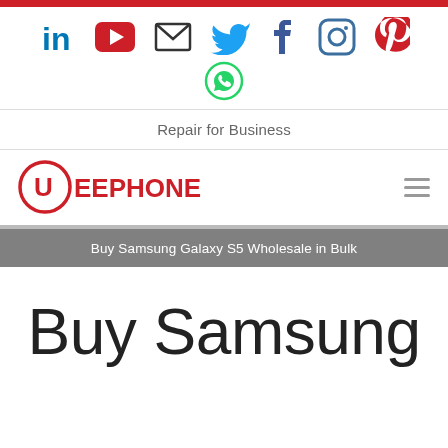[Figure (other): Red horizontal bar at the top of the page]
[Figure (other): Social media icons row: LinkedIn, YouTube, Email, Twitter, Facebook, Instagram, Pinterest, and WhatsApp]
Repair for Business
[Figure (logo): UEEPHONE logo — red circular U icon with UEEPHONE text in red, and hamburger menu icon on the right]
Buy Samsung Galaxy S5 Wholesale in Bulk
Buy Samsung